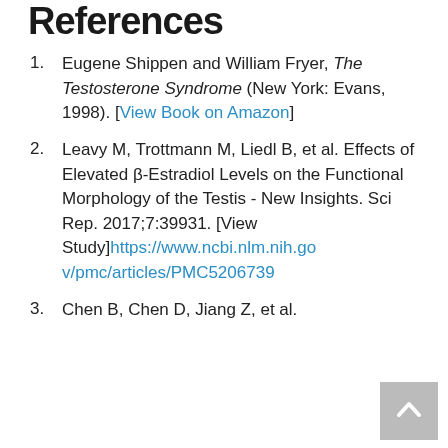References
Eugene Shippen and William Fryer, The Testosterone Syndrome (New York: Evans, 1998). [View Book on Amazon]
Leavy M, Trottmann M, Liedl B, et al. Effects of Elevated β-Estradiol Levels on the Functional Morphology of the Testis - New Insights. Sci Rep. 2017;7:39931. [View Study]https://www.ncbi.nlm.nih.gov/pmc/articles/PMC5206739
Chen B, Chen D, Jiang Z, et al.